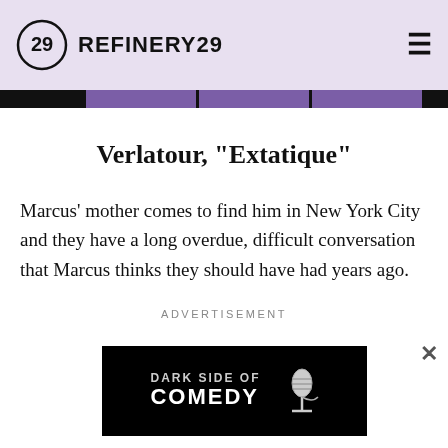REFINERY29
Verlatour, "Extatique"
Marcus' mother comes to find him in New York City and they have a long overdue, difficult conversation that Marcus thinks they should have had years ago.
ADVERTISEMENT
[Figure (screenshot): Dark Side of Comedy advertisement banner — black background with text 'DARK SIDE OF COMEDY' and a microphone graphic]